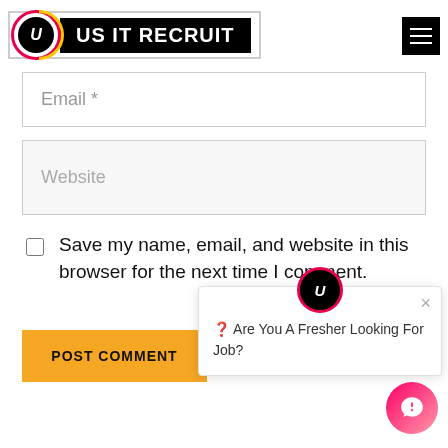[Figure (logo): US IT RECRUIT logo with U icon and hamburger menu]
Email *
Website
Save my name, email, and website in this browser for the next time I comment.
POST COMMENT
[Figure (screenshot): Chat popup with U icon showing: Are You A Fresher Looking For Job?]